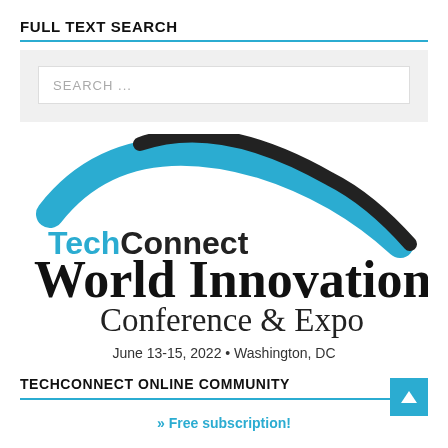FULL TEXT SEARCH
[Figure (screenshot): Search input box with placeholder text 'SEARCH ...' on a light gray background]
[Figure (logo): TechConnect World Innovation Conference & Expo logo with blue arc and black text]
June 13-15, 2022 • Washington, DC
TECHCONNECT ONLINE COMMUNITY
» Free subscription!